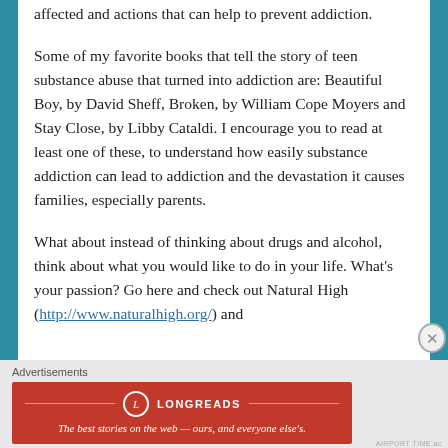affected and actions that can help to prevent addiction.
Some of my favorite books that tell the story of teen substance abuse that turned into addiction are: Beautiful Boy, by David Sheff, Broken, by William Cope Moyers and Stay Close, by Libby Cataldi. I encourage you to read at least one of these, to understand how easily substance addiction can lead to addiction and the devastation it causes families, especially parents.
What about instead of thinking about drugs and alcohol, think about what you would like to do in your life. What's your passion? Go here and check out Natural High (http://www.naturalhigh.org/) and
Advertisements
[Figure (logo): Longreads advertisement banner with logo and tagline: The best stories on the web — ours, and everyone else's.]